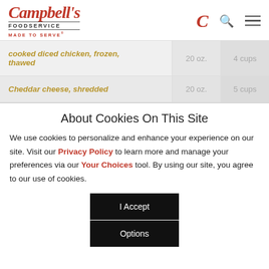Campbell's Foodservice – Made to Serve
| Ingredient | oz | cups |
| --- | --- | --- |
| cooked diced chicken, frozen, thawed | 20 oz. | 4 cups |
| Cheddar cheese, shredded | 20 oz. | 5 cups |
About Cookies On This Site
We use cookies to personalize and enhance your experience on our site. Visit our Privacy Policy to learn more and manage your preferences via our Your Choices tool. By using our site, you agree to our use of cookies.
I Accept
Options